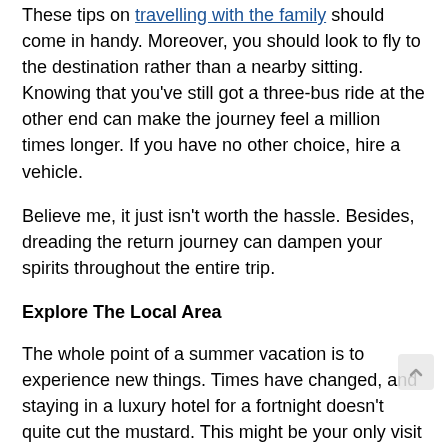These tips on travelling with the family should come in handy. Moreover, you should look to fly to the destination rather than a nearby sitting. Knowing that you've still got a three-bus ride at the other end can make the journey feel a million times longer. If you have no other choice, hire a vehicle.
Believe me, it just isn't worth the hassle. Besides, dreading the return journey can dampen your spirits throughout the entire trip.
Explore The Local Area
The whole point of a summer vacation is to experience new things. Times have changed, and staying in a luxury hotel for a fortnight doesn't quite cut the mustard. This might be your only visit to this part of the world, so you might as well get out to explore it.
Finding summer adventures for families will ensure that your trip becomes a memorable one. Whether it's taking